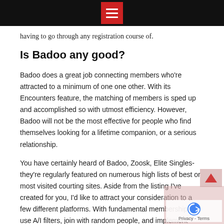[Menu icon / hamburger button in red square on black bar]
having to go through any registration course of.
Is Badoo any good?
Badoo does a great job connecting members who're attracted to a minimum of one one other. With its Encounters feature, the matching of members is sped up and accomplished so with utmost efficiency. However, Badoo will not be the most effective for people who find themselves looking for a lifetime companion, or a serious relationship.
You have certainly heard of Badoo, Zoosk, Elite Singles- they're regularly featured on numerous high lists of best or most visited courting sites. Aside from the listing I've created for you, I'd like to attract your consideration to a few different platforms. With fundamental membership can use A/I filters, join with random people, and implement various location filters. Making it possible for people to stay…